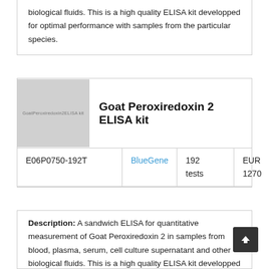biological fluids. This is a high quality ELISA kit developped for optimal performance with samples from the particular species.
[Figure (photo): Product image placeholder showing 'Goat Peroxiredoxin 2 ELISA kit' label on grey background]
Goat Peroxiredoxin 2 ELISA kit
|  | Supplier | Quantity | Price |
| --- | --- | --- | --- |
| E06P0750-192T | BlueGene | 192 tests | EUR 1270 |
Description: A sandwich ELISA for quantitative measurement of Goat Peroxiredoxin 2 in samples from blood, plasma, serum, cell culture supernatant and other biological fluids. This is a high quality ELISA kit developped for optimal performance with samples from the particular